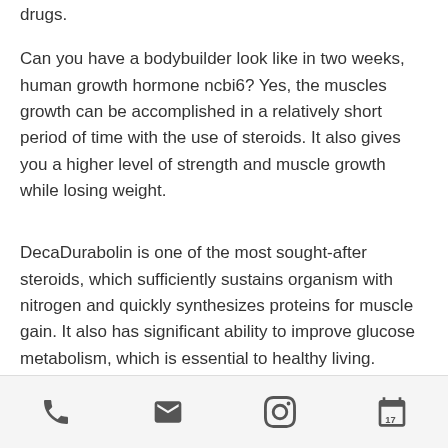drugs.
Can you have a bodybuilder look like in two weeks, human growth hormone ncbi6? Yes, the muscles growth can be accomplished in a relatively short period of time with the use of steroids. It also gives you a higher level of strength and muscle growth while losing weight.
DecaDurabolin is one of the most sought-after steroids, which sufficiently sustains organism with nitrogen and quickly synthesizes proteins for muscle gain. It also has significant ability to improve glucose metabolism, which is essential to healthy living.
The substance is sold in a number of forms
Phone | Email | Instagram | Calendar